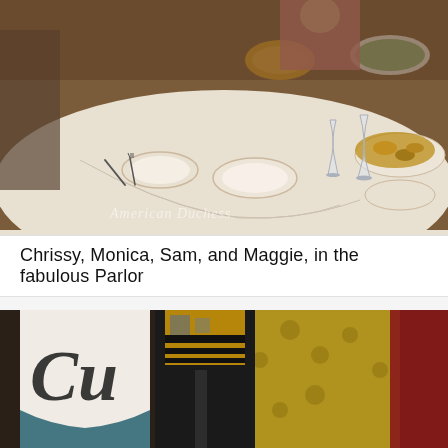[Figure (photo): A dining table covered with a white tablecloth set with plates, cutlery, and glassware. Food dishes visible including bread, salad, and roasted vegetables. People partially visible in background. Watermark reads 'American Duchess'.]
Chrissy, Monica, Sam, and Maggie, in the fabulous Parlor
[Figure (photo): Close-up of wine and champagne bottles. One bottle has a cursive label starting with 'Cu', the other is a dark bottle with black and gold foil top. Yellow patterned fabric visible in background.]